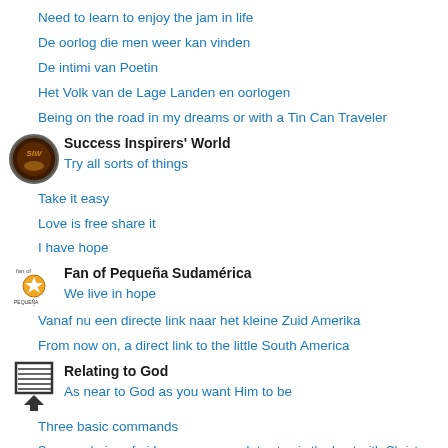Need to learn to enjoy the jam in life
De oorlog die men weer kan vinden
De intimi van Poetin
Het Volk van de Lage Landen en oorlogen
Being on the road in my dreams or with a Tin Can Traveler
Success Inspirers' World
Try all sorts of things
Take it easy
Love is free share it
I have hope
Fan of Pequeña Sudamérica
We live in hope
Vanaf nu een directe link naar het kleine Zuid Amerika
From now on, a direct link to the little South America
Relating to God
As near to God as you want Him to be
Three basic commands
So many being afraid – reason enough to step in the boat with Christ
A New Schoolyear, new plans
Bid om God te danken